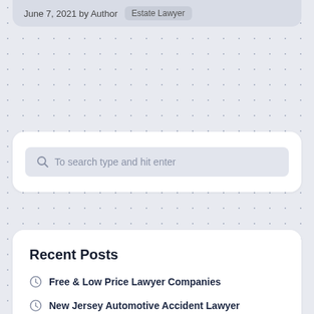June 7, 2021 by Author   Estate Lawyer
[Figure (screenshot): Search box with placeholder text 'To search type and hit enter' on a white card with rounded corners]
Recent Posts
Free & Low Price Lawyer Companies
New Jersey Automotive Accident Lawyer